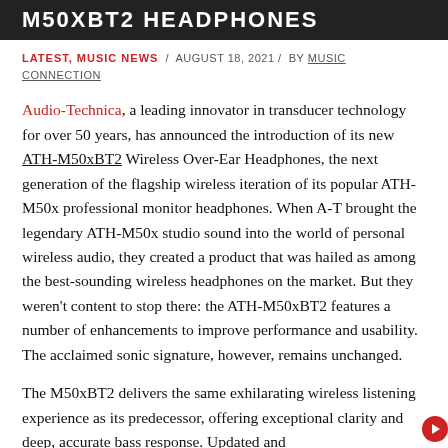M50XBT2 HEADPHONES
LATEST, MUSIC NEWS / AUGUST 18, 2021 / BY MUSIC CONNECTION
Audio-Technica, a leading innovator in transducer technology for over 50 years, has announced the introduction of its new ATH-M50xBT2 Wireless Over-Ear Headphones, the next generation of the flagship wireless iteration of its popular ATH-M50x professional monitor headphones. When A-T brought the legendary ATH-M50x studio sound into the world of personal wireless audio, they created a product that was hailed as among the best-sounding wireless headphones on the market. But they weren't content to stop there: the ATH-M50xBT2 features a number of enhancements to improve performance and usability. The acclaimed sonic signature, however, remains unchanged.
The M50xBT2 delivers the same exhilarating wireless listening experience as its predecessor, offering exceptional clarity and deep, accurate bass response. Updated and